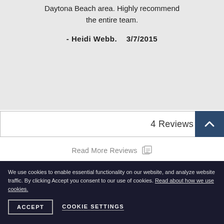Daytona Beach area. Highly recommend the entire team.
- Heidi Webb.    3/7/2015
4 Reviews
Read More Reviews
We use cookies to enable essential functionality on our website, and analyze website traffic. By clicking Accept you consent to our use of cookies. Read about how we use cookies.
ACCEPT
COOKIE SETTINGS